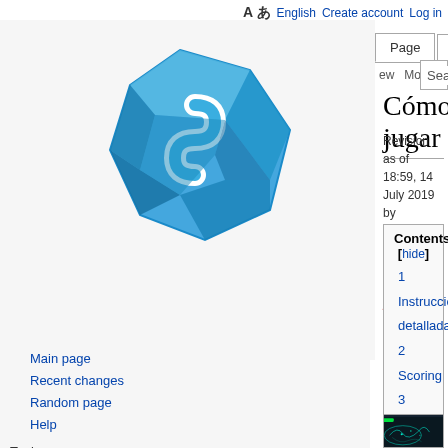A あ English  Create account  Log in
[Figure (logo): Moodle-like blue geometric chain link logo on gray background]
Main page
Recent changes
Random page
Help
Tools
What links here
Related changes
Special pages
Printable version
Permanent link
Page information
Cite this page
Cómo jugar
Revision as of 18:59, 14 July 2019 by Ortegargz (Talk | contribs) (Created page with "Obtención de puntos") (diff) ← Older revision | Latest revision (diff) | Newer revision → (diff)
| Contents [hide] |
| --- |
| 1 Instrucciones detalladas |
| 2 Scoring |
| 3 Helpful Tools |
| 4 Problems |
| 5 FAQ |
[Figure (screenshot): Dark screenshot of a game interface with green bar and teal graphic elements on dark background]